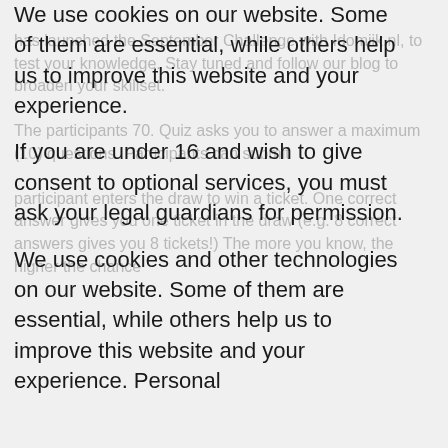We use cookies on our website. Some of them are essential, while others help us to improve this website and your experience.
If you are under 16 and wish to give consent to optional services, you must ask your legal guardians for permission.
We use cookies and other technologies on our website. Some of them are essential, while others help us to improve this website and your experience. Personal
✓ Essential   □ Statistics   □ Marketing
□ External Media
Table of Contents
1. September Challenge
1.1. The Champion
1.2. Answers from September's Challenge
2. October Challenge